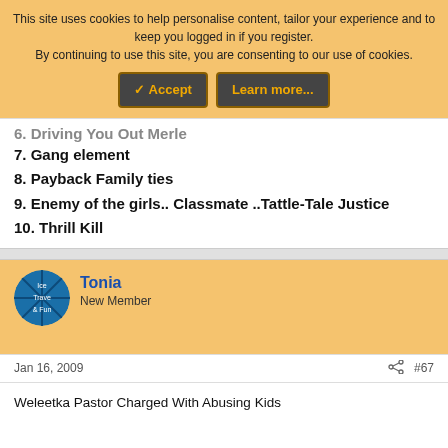This site uses cookies to help personalise content, tailor your experience and to keep you logged in if you register.
By continuing to use this site, you are consenting to our use of cookies.
✓ Accept   Learn more...
6. Driving You Out Mele (truncated/partially visible)
7. Gang element
8. Payback Family ties
9. Enemy of the girls.. Classmate ..Tattle-Tale Justice
10. Thrill Kill
Tonia
New Member
Jan 16, 2009
#67
Weleetka Pastor Charged With Abusing Kids